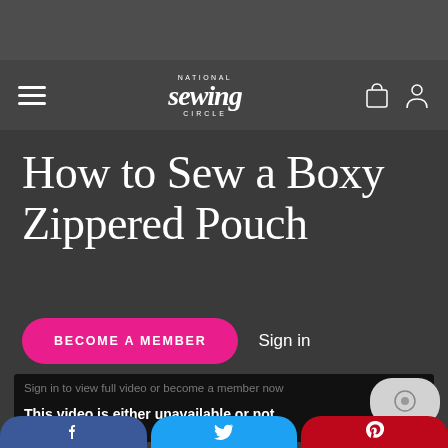National Sewing Circle
How to Sew a Boxy Zippered Pouch
BECOME A MEMBER
Sign in
Sign in to view full video or become a member now
This video is either unavailable or not